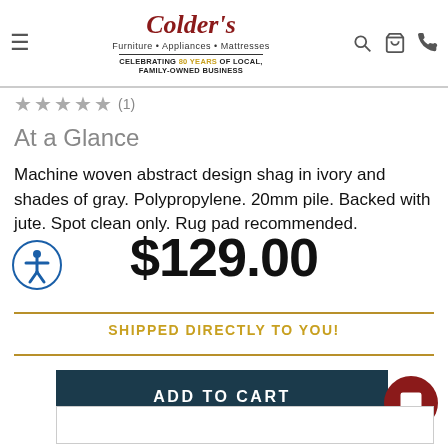Colder's Furniture • Appliances • Mattresses — CELEBRATING 80 YEARS OF LOCAL, FAMILY-OWNED BUSINESS
(1)
At a Glance
Machine woven abstract design shag in ivory and shades of gray. Polypropylene. 20mm pile. Backed with jute. Spot clean only. Rug pad recommended.
$129.00
SHIPPED DIRECTLY TO YOU!
ADD TO CART